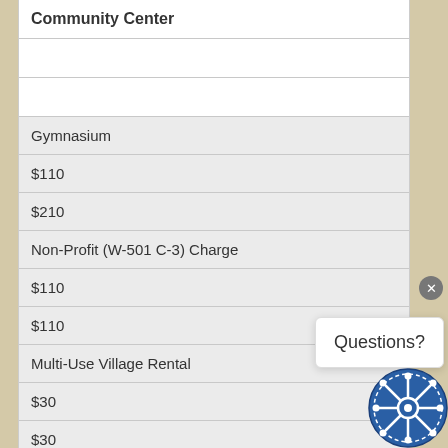| Community Center |
|  |
|  |
| Gymnasium |
| $110 |
| $210 |
| Non-Profit (W-501 C-3) Charge |
| $110 |
| $110 |
| Multi-Use Village Rental |
| $30 |
| $30 |
| Osborne Park |
|  |
Questions?